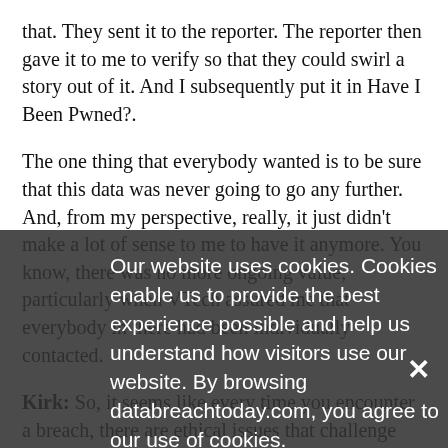that. They sent it to the reporter. The reporter then gave it to me to verify so that they could swirl a story out of it. And I subsequently put it in Have I Been Pwned?.
The one thing that everybody wanted is to be sure that this data was never going to go any further. And, from my perspective, really, it just didn't make a lot of sense to me to have it anymore. You know, there was no more ongoing value, particularly when VTech assured me that everybody in there had been individually contacted.
Kirk: So, it seems like every time you encounter a breach, there are ethical issues that challenge whether you should put the data into Have I Been Pwned?
Hunt: There are consequences, right. And every single incident including this LinkedIn one will make me stop and think "Is this the right thing to do?" So LinkedIn made me
Our website uses cookies. Cookies enable us to provide the best experience possible and help us understand how visitors use our website. By browsing databreachtoday.com, you agree to our use of cookies.